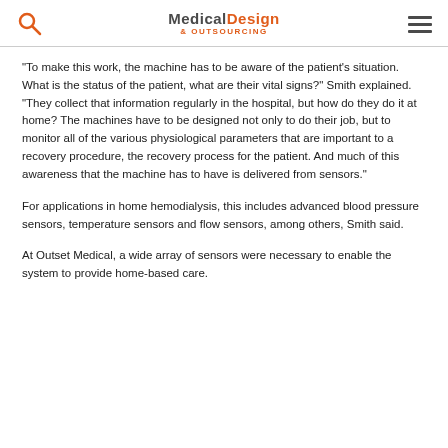Medical Design & Outsourcing
“To make this work, the machine has to be aware of the patient’s situation. What is the status of the patient, what are their vital signs?” Smith explained. “They collect that information regularly in the hospital, but how do they do it at home? The machines have to be designed not only to do their job, but to monitor all of the various physiological parameters that are important to a recovery procedure, the recovery process for the patient. And much of this awareness that the machine has to have is delivered from sensors.”
For applications in home hemodialysis, this includes advanced blood pressure sensors, temperature sensors and flow sensors, among others, Smith said.
At Outset Medical, a wide array of sensors were necessary to enable the system to provide home-based care.